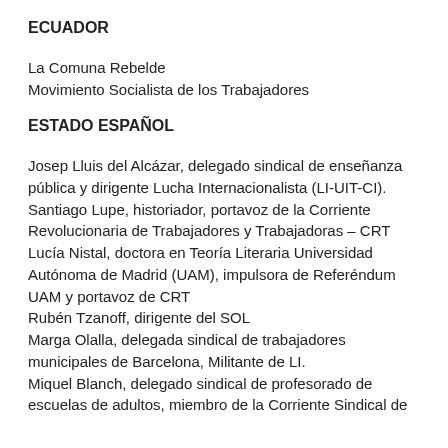ECUADOR
La Comuna Rebelde
Movimiento Socialista de los Trabajadores
ESTADO ESPAÑOL
Josep Lluis del Alcázar, delegado sindical de enseñanza pública y dirigente Lucha Internacionalista (LI-UIT-CI).
Santiago Lupe, historiador, portavoz de la Corriente Revolucionaria de Trabajadores y Trabajadoras – CRT
Lucía Nistal, doctora en Teoría Literaria Universidad Autónoma de Madrid (UAM), impulsora de Referéndum UAM y portavoz de CRT
Rubén Tzanoff, dirigente del SOL
Marga Olalla, delegada sindical de trabajadores municipales de Barcelona, Militante de LI.
Miquel Blanch, delegado sindical de profesorado de escuelas de adultos, miembro de la Corriente Sindical de